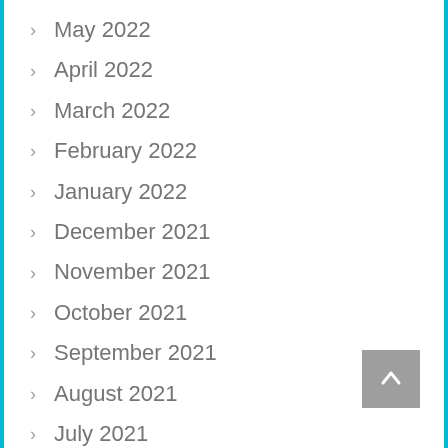May 2022
April 2022
March 2022
February 2022
January 2022
December 2021
November 2021
October 2021
September 2021
August 2021
July 2021
June 2021
May 2021
April 2021
January 2021